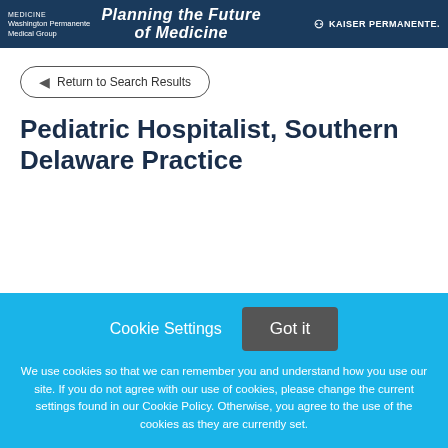MEDICINE Washington Permanente Medical Group | Planning the Future of Medicine | KAISER PERMANENTE.
Return to Search Results
Pediatric Hospitalist, Southern Delaware Practice
Cookie Settings  Got it

We use cookies so that we can remember you and understand how you use our site. If you do not agree with our use of cookies, please change the current settings found in our Cookie Policy. Otherwise, you agree to the use of the cookies as they are currently set.